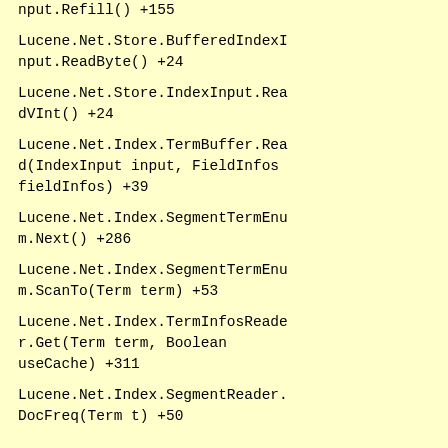nput.Refill() +155
Lucene.Net.Store.BufferedIndexInput.ReadByte() +24
Lucene.Net.Store.IndexInput.ReadVInt() +24
Lucene.Net.Index.TermBuffer.Read(IndexInput input, FieldInfos fieldInfos) +39
Lucene.Net.Index.SegmentTermEnum.Next() +286
Lucene.Net.Index.SegmentTermEnum.ScanTo(Term term) +53
Lucene.Net.Index.TermInfosReader.Get(Term term, Boolean useCache) +311
Lucene.Net.Index.SegmentReader.DocFreq(Term t) +50